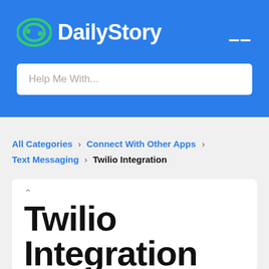DailyStory
Help Me With...
All Categories > Connect With Other Apps > Text Messaging > Twilio Integration
Twilio Integration